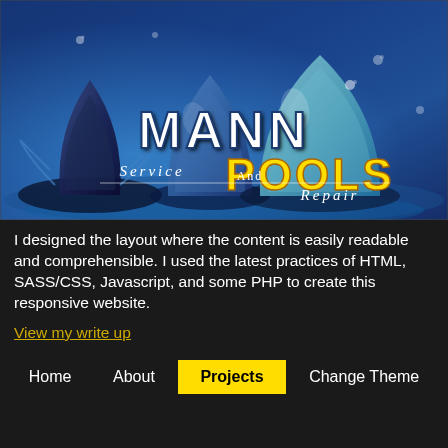[Figure (logo): Mann Pools Service and Repair logo with water droplets on a blue water background. Large text reads MANN POOLS with Service And Repair beneath.]
I designed the layout where the content is easily readable and comprehensible. I used the latest practices of HTML, SASS/CSS, Javascript, and some PHP to create this responsive website.
View my write up
Home
About
Projects
Change Theme